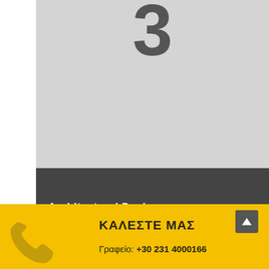[Figure (illustration): Large grey image area with a partially visible large bold number '3' at the top, clipped at the top edge]
Architectural Design
ΚΑΛΕΣΤΕ ΜΑΣ
Γραφείο: +30 231 4000166